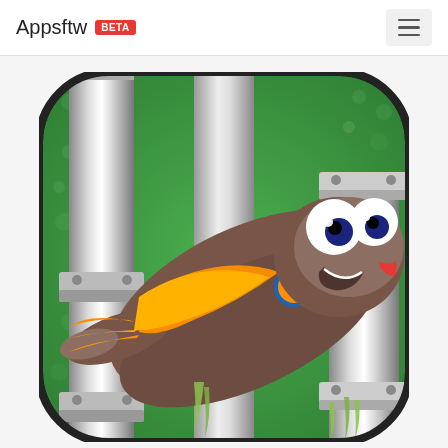Appsftw BETA
[Figure (illustration): Mobile app icon showing a cartoon worm/slug character with big googly eyes and a smile, wearing a small orange cape, flying through a green slimy background with silver industrial pipes. The icon has rounded corners and a dark border.]